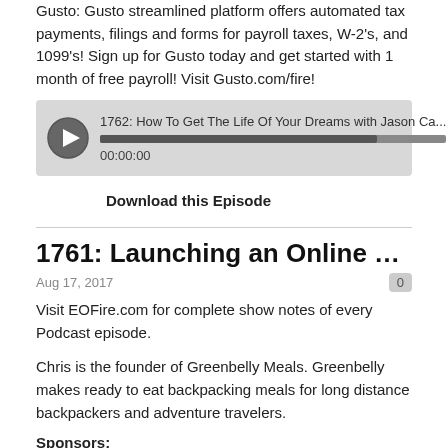Gusto: Gusto streamlined platform offers automated tax payments, filings and forms for payroll taxes, W-2's, and 1099's! Sign up for Gusto today and get started with 1 month of free payroll! Visit Gusto.com/fire!
[Figure (other): Podcast audio player widget showing episode '1762: How To Get The Life Of Your Dreams with Jason Ca...' with play button, progress bar, timestamp 00:00:00, and libsyn logo]
Download this Episode
1761: Launching an Online Backpacking Fo...
Aug 17, 2017
Visit EOFire.com for complete show notes of every Podcast episode.
Chris is the founder of Greenbelly Meals. Greenbelly makes ready to eat backpacking meals for long distance backpackers and adventure travelers.
Sponsors:
ViralSweep: Build and run your own sweepstakes and contests that you can put right on your website! To show you the power of ViralSweep, we're running the Ignite Your Fire Sweepstakes! To read official rules and enter, visit EOFire.com/win! Open to US residents only.
Organifi: I've been researching plant-based supplements that will help me not